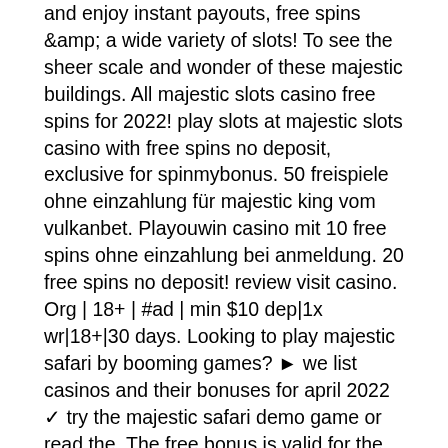and enjoy instant payouts, free spins &amp; a wide variety of slots! To see the sheer scale and wonder of these majestic buildings. All majestic slots casino free spins for 2022! play slots at majestic slots casino with free spins no deposit, exclusive for spinmybonus. 50 freispiele ohne einzahlung für majestic king vom vulkanbet. Playouwin casino mit 10 free spins ohne einzahlung bei anmeldung. 20 free spins no deposit! review visit casino. Org | 18+ | #ad | min $10 dep|1x wr|18+|30 days. Looking to play majestic safari by booming games? ► we list casinos and their bonuses for april 2022 ✓ try the majestic safari demo game or read the. The free bonus is valid for the following countries: australia and new zealand. Discover the best no deposit bonuses. Claim free spins, your $1. 000 bonus code &amp; win real money. Full list of us no deposit bonuses for mar. Live